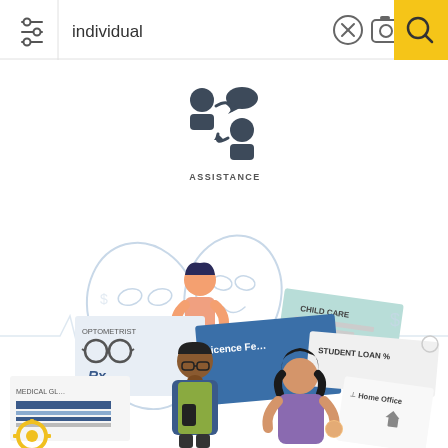[Figure (screenshot): Mobile app search bar with filter icon on left, text field showing 'individual', X clear button, camera icon, and yellow search button on right]
[Figure (illustration): Dark grey icon showing two people with speech bubbles and arrows between them, labeled ASSISTANCE below]
[Figure (illustration): Flat illustration of a person standing between large theatrical mask shapes with faces drawn on them]
[Figure (illustration): Flat illustration of two people (man and woman) surrounded by scattered financial documents including CHILD CARE, OPTOMETRIST, Licence Fee, STUDENT LOAN %, MEDICAL CL..., Rx, Home Office cards]